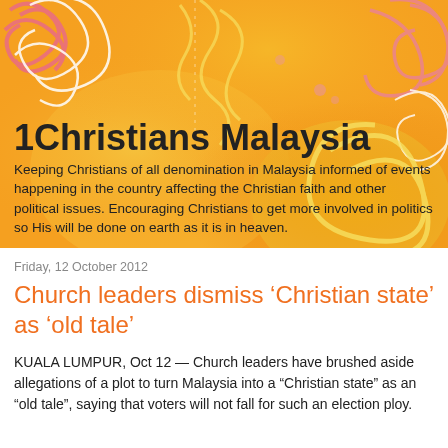[Figure (illustration): Orange decorative banner background with swirling floral/spiral patterns in pink, yellow, and white on a gradient orange background]
1Christians Malaysia
Keeping Christians of all denomination in Malaysia informed of events happening in the country affecting the Christian faith and other political issues. Encouraging Christians to get more involved in politics so His will be done on earth as it is in heaven.
Friday, 12 October 2012
Church leaders dismiss ‘Christian state’ as ‘old tale’
KUALA LUMPUR, Oct 12 — Church leaders have brushed aside allegations of a plot to turn Malaysia into a “Christian state” as an “old tale”, saying that voters will not fall for such an election ploy.